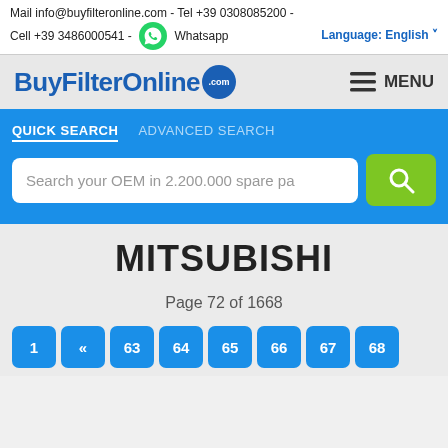Mail info@buyfilteronline.com - Tel +39 0308085200 - Cell +39 3486000541 - Whatsapp   Language: English
[Figure (logo): BuyFilterOnline.com logo with blue text and blue circle badge, plus hamburger MENU button]
[Figure (screenshot): Search section with QUICK SEARCH and ADVANCED SEARCH tabs, search input box with placeholder 'Search your OEM in 2.200.000 spare pa' and green search button]
MITSUBISHI
Page 72 of 1668
Pagination: 1, «, 63, 64, 65, 66, 67, 68